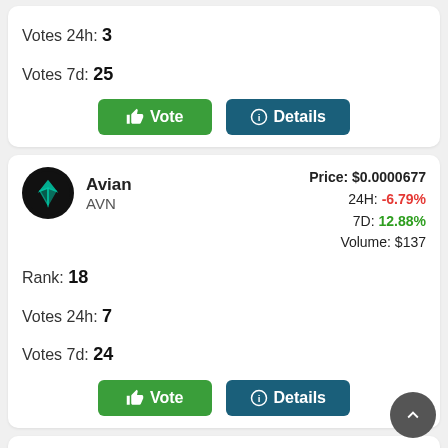Votes 24h: 3
Votes 7d: 25
[Figure (other): Vote button (green) and Details button (teal)]
[Figure (logo): Avian (AVN) coin logo - black circle with teal geometric bird icon]
Avian AVN — Price: $0.0000677, 24H: -6.79%, 7D: 12.88%, Volume: $137
Rank: 18
Votes 24h: 7
Votes 7d: 24
[Figure (other): Vote button (green) and Details button (teal)]
[Figure (logo): ChainCade (CHAINCADE) coin logo - diamond shape with orange/pink gradient]
ChainCade CHAINCADE — Price: $0.000000001464, 24H: 0.14%, 7D: -9.53%, Volume: $6,315
Rank: 19